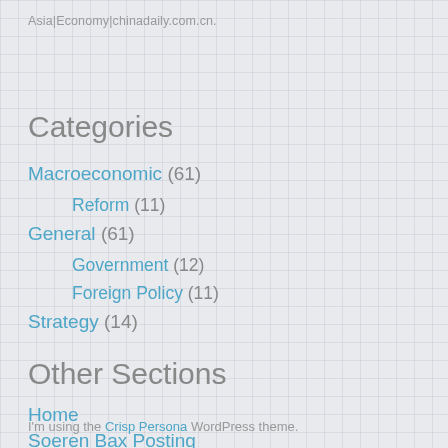Asia|Economy|chinadaily.com.cn.
Categories
Macroeconomic (61)
Reform (11)
General (61)
Government (12)
Foreign Policy (11)
Strategy (14)
Other Sections
Home
Soeren Bax Posting
I'm using the Crisp Persona WordPress theme.